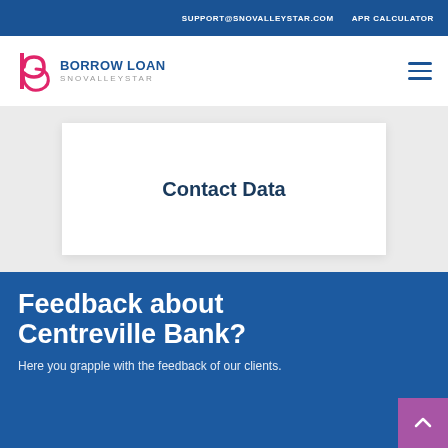SUPPORT@SNOVALLEYSTAR.COM   APR CALCULATOR
[Figure (logo): Borrow Loan Snovalleystar logo with stylized 'b' letter mark in pink/magenta and blue, with text 'BORROW LOAN' in blue bold and 'SNOVALLEYSTAR' in gray]
Contact Data
Feedback about Centreville Bank?
Here you grapple with the feedback of our clients.